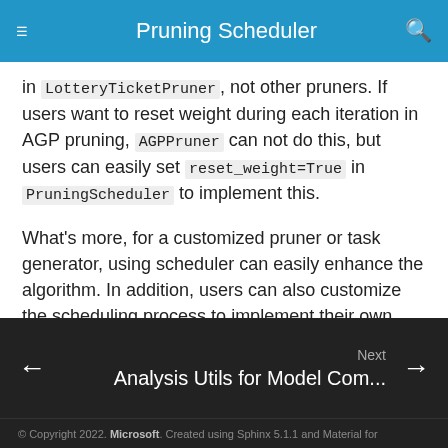Pruning Scheduler
in LotteryTicketPruner, not other pruners. If users want to reset weight during each iteration in AGP pruning, AGPPruner can not do this, but users can easily set reset_weight=True in PruningScheduler to implement this.
What's more, for a customized pruner or task generator, using scheduler can easily enhance the algorithm. In addition, users can also customize the scheduling process to implement their own scheduler.
Next  Analysis Utils for Model Com...
© Copyright 2022. Microsoft. Created using Sphinx 5.1.1 and Material for